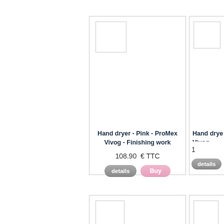[Figure (screenshot): Product card for Hand dryer - Pink - ProMex Vivog - Finishing work, showing a placeholder image box, product title, price 108.90 € TTC, and details/Buy buttons]
Hand dryer - Pink - ProMex Vivog - Finishing work
108.90 € TTC
[Figure (screenshot): Partial product card on right side showing Hand dryer - ProMex Vivog with placeholder image and details button]
Hand dryer - ProMex Vivog
[Figure (screenshot): Bottom partial product card on left showing image placeholder only]
[Figure (screenshot): Bottom partial product card on right showing image placeholder only]